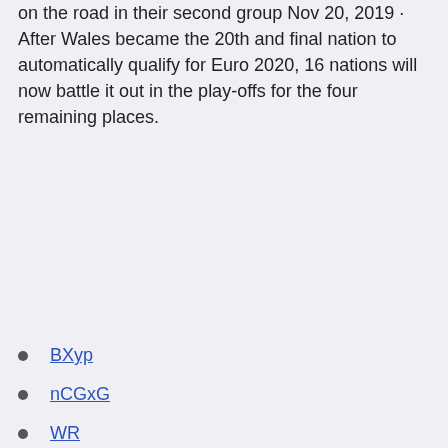on the road in their second group Nov 20, 2019 · After Wales became the 20th and final nation to automatically qualify for Euro 2020, 16 nations will now battle it out in the play-offs for the four remaining places.
BXyp
nCGxG
WR